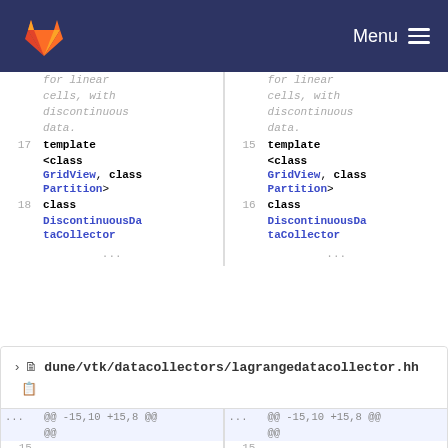GitLab — Menu
for linear cells, with discontinuous data.
    17   template <class GridView, class Partition>
    18   class DiscontinuousDataCollector
    ...
for linear cells, with discontinuous data.
    15   template <class GridView, class Partition>
    16   class DiscontinuousDataCollector
    ...
dune/vtk/datacollectors/lagrangedatacollector.hh
@@ -15,10 +15,8 @@
    15
    16   namespace Dune
    17 ...
@@ -15,10 +15,8 @@
    15
    16   namespace Dune
    17 ...